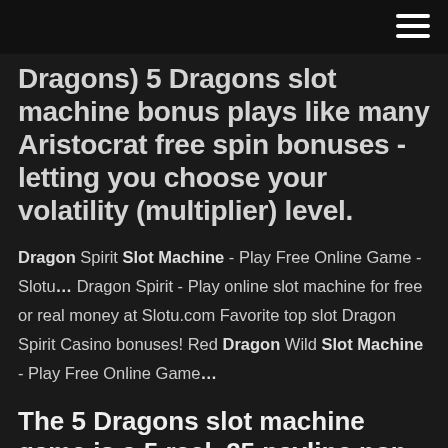Dragons) 5 Dragons slot machine bonus plays like many Aristocrat free spin bonuses - letting you choose your volatility (multiplier) level.
Dragon Spirit Slot Machine - Play Free Online Game - Slotu... Dragon Spirit - Play online slot machine for free or real money at Slotu.com Favorite top slot Dragon Spirit Casino bonuses! Red Dragon Wild Slot Machine - Play Free Online Game...
The 5 Dragons slot machine game is a 5 reel, 25 payline non-progressive video slot game offering free spins, disperse